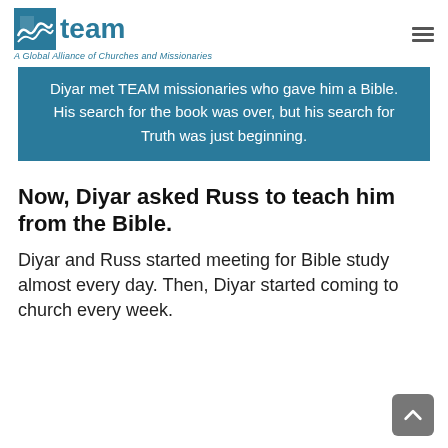team — A Global Alliance of Churches and Missionaries
Diyar met TEAM missionaries who gave him a Bible. His search for the book was over, but his search for Truth was just beginning.
Now, Diyar asked Russ to teach him from the Bible.
Diyar and Russ started meeting for Bible study almost every day. Then, Diyar started coming to church every week.